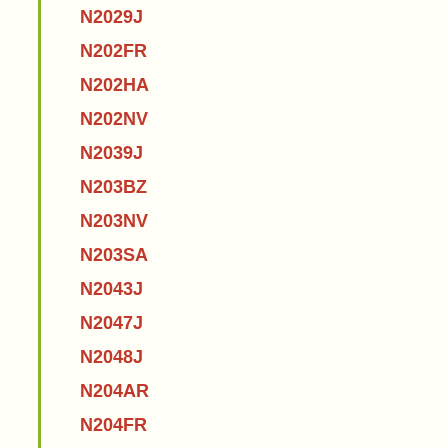N2029J
N202FR
N202HA
N202NV
N2039J
N203BZ
N203NV
N203SA
N2043J
N2047J
N2048J
N204AR
N204FR
N204HA
N204NV
N204SA